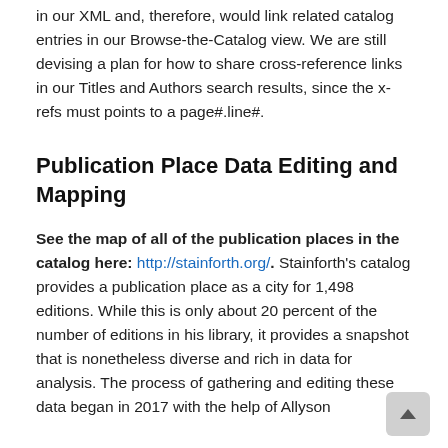in our XML and, therefore, would link related catalog entries in our Browse-the-Catalog view. We are still devising a plan for how to share cross-reference links in our Titles and Authors search results, since the x-refs must points to a page#.line#.
Publication Place Data Editing and Mapping
See the map of all of the publication places in the catalog here: http://stainforth.org/. Stainforth's catalog provides a publication place as a city for 1,498 editions. While this is only about 20 percent of the number of editions in his library, it provides a snapshot that is nonetheless diverse and rich in data for analysis. The process of gathering and editing these data began in 2017 with the help of Allyson